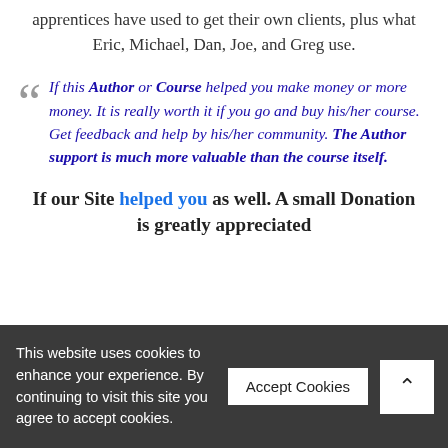apprentices have used to get their own clients, plus what Eric, Michael, Dan, Joe, and Greg use.
If this Author or Course helped you make money or more money. It is really worth it if you go and buy his/her course. Get feedback and help by his/her community. The Author support is much more valuable than the course itself.
If our Site helped you as well. A small Donation is greatly appreciated
This website uses cookies to enhance your experience. By continuing to visit this site you agree to accept cookies.